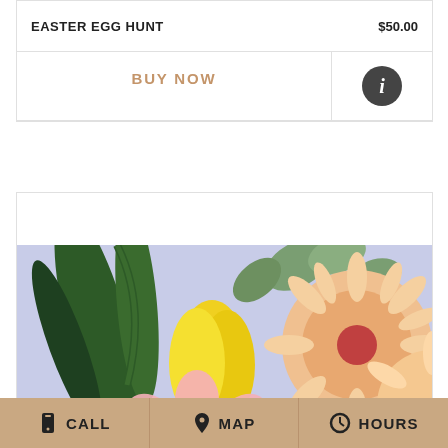EASTER EGG HUNT  $50.00
BUY NOW
[Figure (photo): Close-up photo of a spring flower arrangement with yellow tulip, pink roses, peach gerbera daisy, eucalyptus, and small white flowers on a lavender background]
CALL  MAP  HOURS